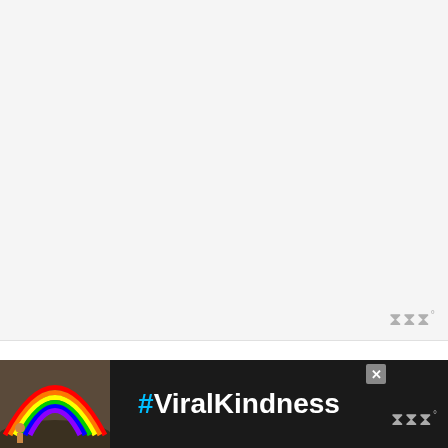[Figure (other): Large image placeholder area with light gray background, watermark logo in bottom-right corner]
The common expression, “aging like a fine wine”, refers to something or someone that only gets better with age.
This doesn't always apply to technology. Usually, the older the technology is, the more likely it is superseded by its successors. However, the Ryzen 7 2700x finds itself in a ro...
[Figure (photo): Advertisement banner with rainbow illustration on dark background reading #ViralKindness, with close button and watermark logo]